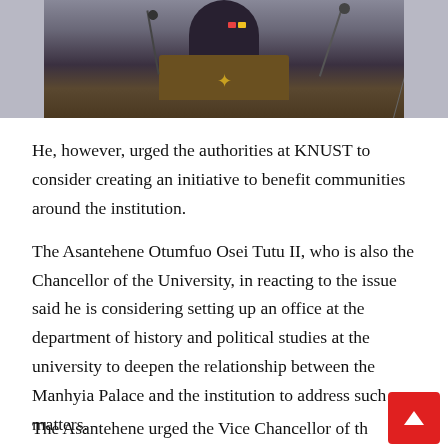[Figure (photo): A person in dark clothing speaking at a podium with a golden emblem, with microphones visible. The background appears to be a light-colored wall. A microphone stand is visible to the right.]
He, however, urged the authorities at KNUST to consider creating an initiative to benefit communities around the institution.
The Asantehene Otumfuo Osei Tutu II, who is also the Chancellor of the University, in reacting to the issue said he is considering setting up an office at the department of history and political studies at the university to deepen the relationship between the Manhyia Palace and the institution to address such matters.
The Asantehene urged the Vice Chancellor of th